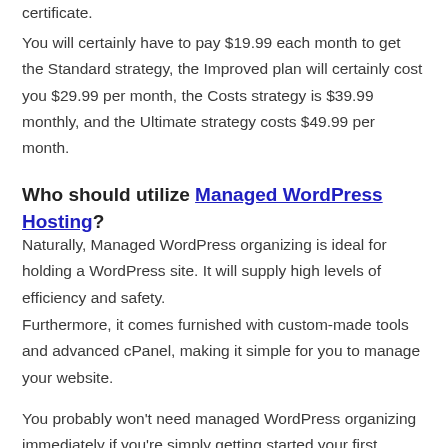certificate.
You will certainly have to pay $19.99 each month to get the Standard strategy, the Improved plan will certainly cost you $29.99 per month, the Costs strategy is $39.99 monthly, and the Ultimate strategy costs $49.99 per month.
Who should utilize Managed WordPress Hosting?
Naturally, Managed WordPress organizing is ideal for holding a WordPress site. It will supply high levels of efficiency and safety.
Furthermore, it comes furnished with custom-made tools and advanced cPanel, making it simple for you to manage your website.
You probably won't need managed WordPress organizing immediately if you're simply getting started your first WordPress